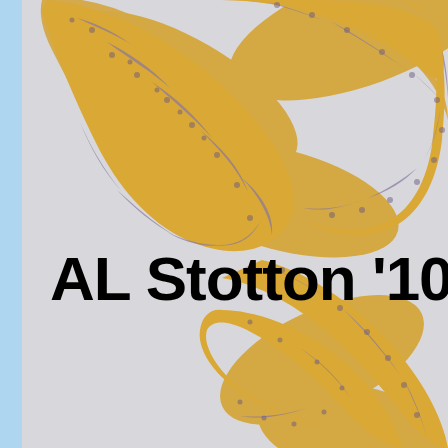[Figure (photo): Close-up photograph of a snake with yellow/orange and gray/purple banded scales coiled in an S-shape against a light gray background]
AL Stotton '10